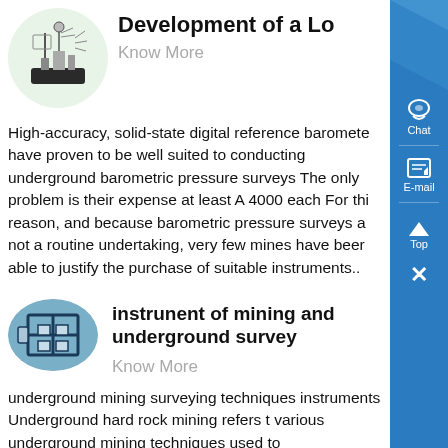[Figure (illustration): Circular thumbnail image of a laboratory or engineering instrument on a light green background]
Development of a Lo
Know More
High-accuracy, solid-state digital reference baromete have proven to be well suited to conducting underground barometric pressure surveys The only problem is their expense at least A 4000 each For thi reason, and because barometric pressure surveys a not a routine undertaking, very few mines have beer able to justify the purchase of suitable instruments..
[Figure (photo): Oval thumbnail photo of mining survey equipment structure, blue sky background]
instrunent of mining and underground survey
Know More
underground mining surveying techniques instruments Underground hard rock mining refers t various underground mining techniques used to